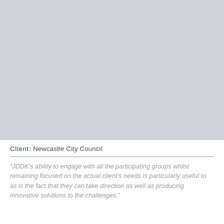[Figure (photo): Large grey placeholder image area occupying the top portion of the page]
Client: Newcastle City Council
"JDDK's ability to engage with all the participating groups whilst remaining focused on the actual client's needs is particularly useful to as is the fact that they can take direction as well as producing innovative solutions to the challenges."